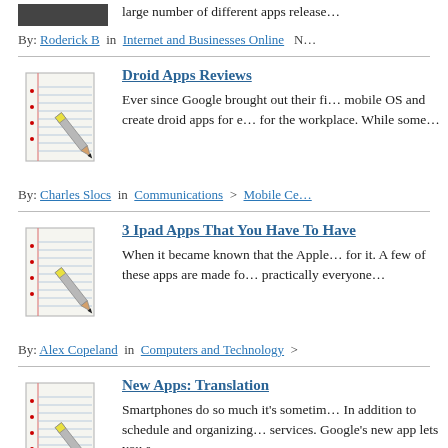large number of different apps release…
By: Roderick B in Internet and Businesses Online N…
Droid Apps Reviews
Ever since Google brought out their fi… mobile OS and create droid apps for e… for the workplace. While some…
By: Charles Slocs in Communications > Mobile Ce…
3 Ipad Apps That You Have To Have
When it became known that the Apple… for it. A few of these apps are made fo… practically everyone…
By: Alex Copeland in Computers and Technology >
New Apps: Translation
Smartphones do so much it's sometim… In addition to schedule and organizing… services. Google's new app lets you s…
By: Evelina in Travel and Leisure Mar 21, 2011